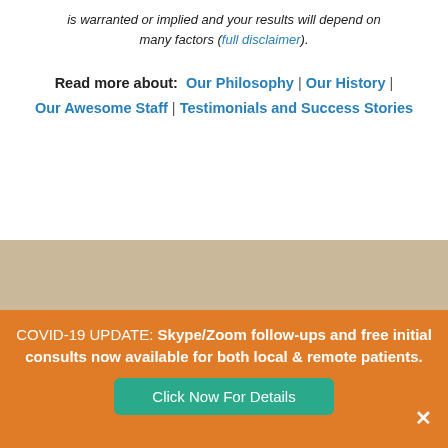is warranted or implied and your results will depend on many factors (full disclaimer).
Read more about: Our Philosophy | Our History | Our Awesome Staff | Testimonials and Success Stories
COVID-19 UPDATE: Skype/Zoom follow-ups and free initial consults now available for both local & remote patients. Click Now For Details